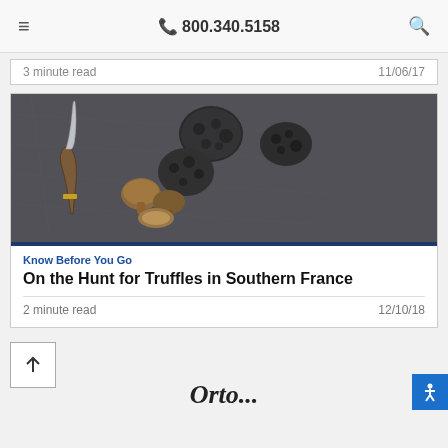≡  📞 800.340.5158  🔍
3 minute read    11/06/17
[Figure (photo): Black truffles and a truffle knife on a dark slate background]
Know Before You Go
On the Hunt for Truffles in Southern France
2 minute read    12/10/18